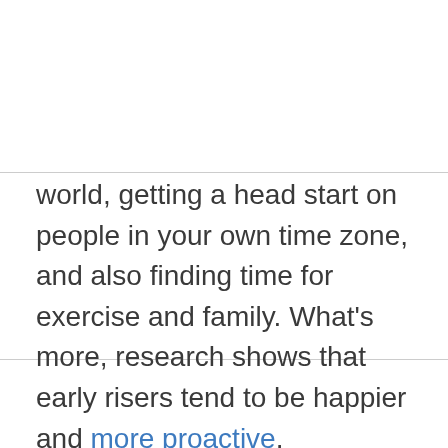world, getting a head start on people in your own time zone, and also finding time for exercise and family. What's more, research shows that early risers tend to be happier and more proactive.
While a late schedule may make sense for some occupations, most people should take notes from the executives and other successful people on this list.